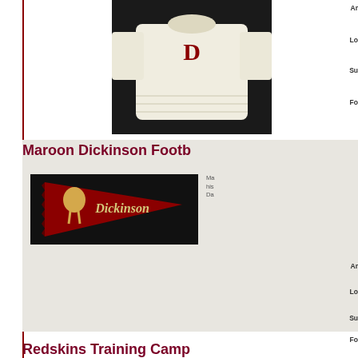[Figure (photo): White knit sweater with red letter, displayed on black background]
Ar
Lo
Su
Fo
Maroon Dickinson Footb
[Figure (photo): Maroon Dickinson pennant with old English lettering on black background]
Ma his Da
Ar
Lo
Su
Fo
Redskins Training Camp...